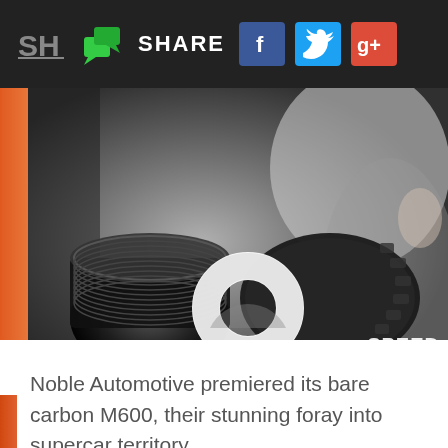SH | SHARE [Facebook] [Twitter] [Google+]
[Figure (photo): Black and white close-up photo of a camera lens or mechanical part being held by a person, with SPEEDHUNTERS.com watermark and 'Photo Ross Clensey' credit in bottom right corner.]
Noble Automotive premiered its bare carbon M600, their stunning foray into supercar territory.
[Figure (photo): Color photo of a crowded automotive show floor with people milling around vehicles.]